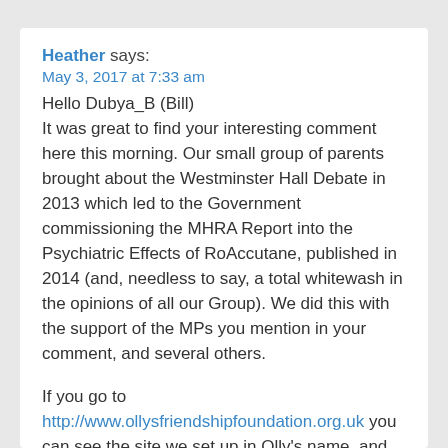Heather says:
May 3, 2017 at 7:33 am
Hello Dubya_B (Bill)
It was great to find your interesting comment here this morning. Our small group of parents brought about the Westminster Hall Debate in 2013 which led to the Government commissioning the MHRA Report into the Psychiatric Effects of RoAccutane, published in 2014 (and, needless to say, a total whitewash in the opinions of all our Group). We did this with the support of the MPs you mention in your comment, and several others.

If you go to http://www.ollysfriendshipfoundation.org.uk you can see the site we set up in Olly's name, and at the bottom, listed under resources, are the